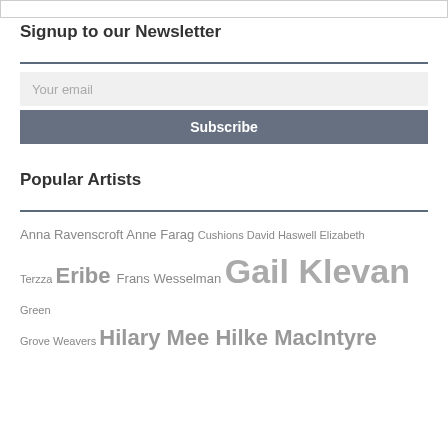[Figure (screenshot): Partial image strip at top of page showing thumbnails]
Signup to our Newsletter
Your email
Subscribe
Popular Artists
Anna Ravenscroft Anne Farag Cushions David Haswell Elizabeth Terzza Eribe Frans Wesselman Gail Klevan Green Grove Weavers Hilary Mee Hilke MacIntyre